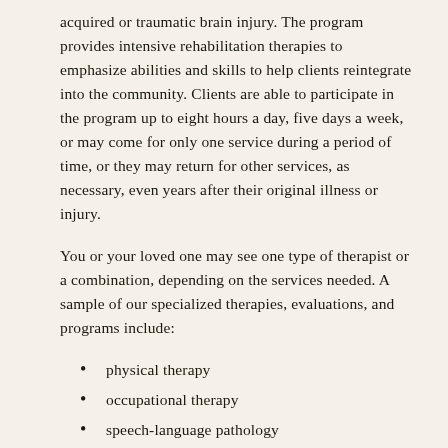acquired or traumatic brain injury. The program provides intensive rehabilitation therapies to emphasize abilities and skills to help clients reintegrate into the community. Clients are able to participate in the program up to eight hours a day, five days a week, or may come for only one service during a period of time, or they may return for other services, as necessary, even years after their original illness or injury.
You or your loved one may see one type of therapist or a combination, depending on the services needed. A sample of our specialized therapies, evaluations, and programs include:
physical therapy
occupational therapy
speech-language pathology